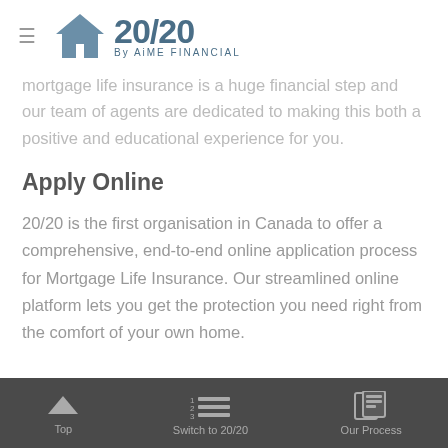20/20 By AiME FINANCIAL
mortgage life insurance is a huge financial step and our team of agents are dedicated to making this both a positive and educational experience for you.
Apply Online
20/20 is the first organisation in Canada to offer a comprehensive, end-to-end online application process for Mortgage Life Insurance. Our streamlined online platform lets you get the protection you need right from the comfort of your own home.
Top    Switch to 20/20    Our Process